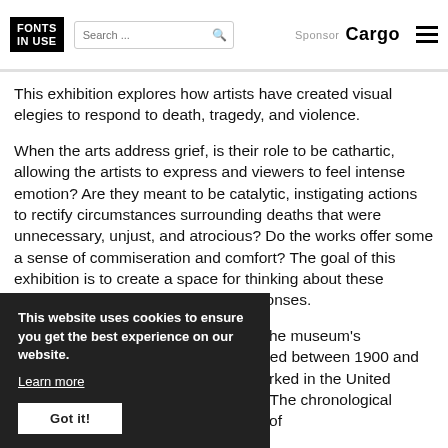FONTS IN USE | Search ... | Sponsor Cargo
This exhibition explores how artists have created visual elegies to respond to death, tragedy, and violence.
When the arts address grief, is their role to be cathartic, allowing the artists to express and viewers to feel intense emotion? Are they meant to be catalytic, instigating actions to rectify circumstances surrounding deaths that were unnecessary, unjust, and atrocious? Do the works offer some a sense of commiseration and comfort? The goal of this exhibition is to create a space for thinking about these powerful emotions and possible responses.
All the works of art on view are from the museum's permanent collection, with most created between 1900 and 2000 by artists who either lived or worked in the United States for some part of their careers. The chronological distance allows us to see how artists of
This website uses cookies to ensure you get the best experience on our website. Learn more Got it!